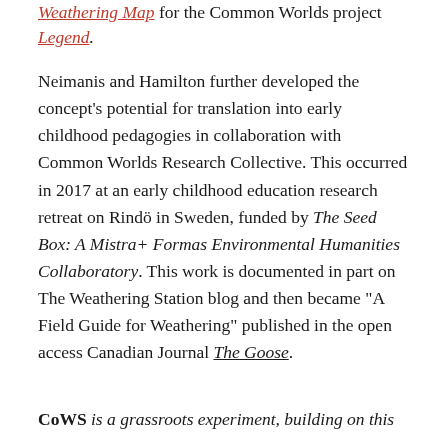Weathering Map for the Common Worlds project Legend.
Neimanis and Hamilton further developed the concept's potential for translation into early childhood pedagogies in collaboration with Common Worlds Research Collective. This occurred in 2017 at an early childhood education research retreat on Rindö in Sweden, funded by The Seed Box: A Mistra+ Formas Environmental Humanities Collaboratory. This work is documented in part on The Weathering Station blog and then became "A Field Guide for Weathering" published in the open access Canadian Journal The Goose.
CoWS is a grassroots experiment, building on this